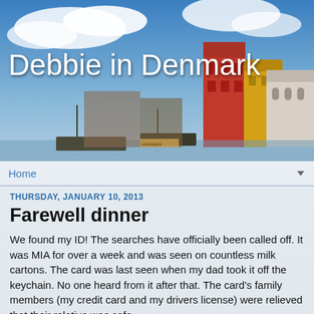[Figure (photo): Nyhavn harbor in Copenhagen, Denmark — colorful buildings along the waterfront, boats moored, blue sky with clouds]
Debbie in Denmark
Home
THURSDAY, JANUARY 10, 2013
Farewell dinner
We found my ID! The searches have officially been called off. It was MIA for over a week and was seen on countless milk cartons. The card was last seen when my dad took it off the keychain. No one heard from it after that. The card's family members (my credit card and my drivers license) were relieved that their relative was safe.
No seriously, we were about ready to drive up to Denison and get a new ID (for $25!) tomorrow. I'm so glad we don't have to waste time or money doing that.
I picked up my Danish money from AAA today. That was